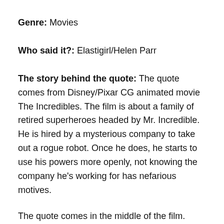Genre: Movies
Who said it?: Elastigirl/Helen Parr
The story behind the quote: The quote comes from Disney/Pixar CG animated movie The Incredibles. The film is about a family of retired superheroes headed by Mr. Incredible. He is hired by a mysterious company to take out a rogue robot. Once he does, he starts to use his powers more openly, not knowing the company he's working for has nefarious motives.
The quote comes in the middle of the film. After arriving on the island where Mr. Incredible is being held, Helen Parr AKA Elastigirl (voiced by Holly